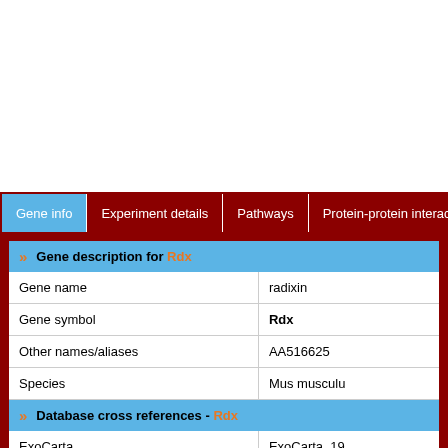Gene info | Experiment details | Pathways | Protein-protein interactions
Gene description for Rdx
|  |  |
| --- | --- |
| Gene name | radixin |
| Gene symbol | Rdx |
| Other names/aliases | AA516625 |
| Species | Mus musculus |
Database cross references - Rdx
|  |  |
| --- | --- |
| ExoCarta | ExoCarta_19... |
| Entrez Gene | 19684 |